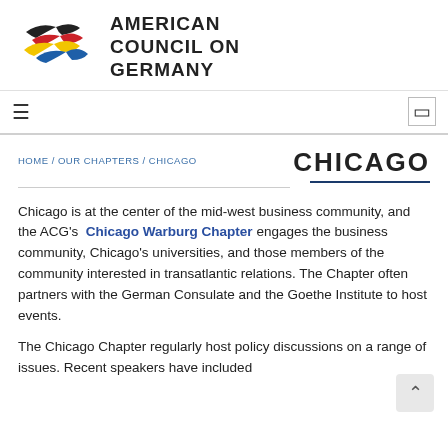[Figure (logo): American Council on Germany logo with intertwined ribbon shapes in black, red, yellow, and blue colors, alongside bold uppercase text 'AMERICAN COUNCIL ON GERMANY']
≡  ⊞
HOME / OUR CHAPTERS / CHICAGO
CHICAGO
Chicago is at the center of the mid-west business community, and the ACG's Chicago Warburg Chapter engages the business community, Chicago's universities, and those members of the community interested in transatlantic relations. The Chapter often partners with the German Consulate and the Goethe Institute to host events.
The Chicago Chapter regularly host policy discussions on a range of issues. Recent speakers have included